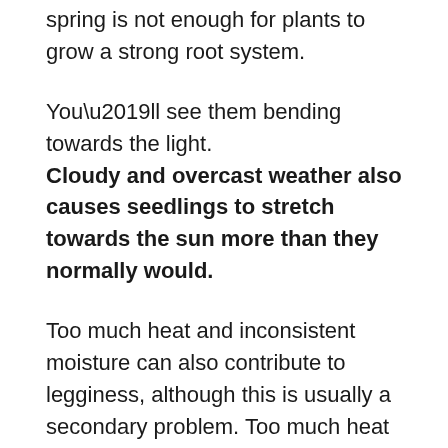spring is not enough for plants to grow a strong root system.
You’ll see them bending towards the light. Cloudy and overcast weather also causes seedlings to stretch towards the sun more than they normally would.
Too much heat and inconsistent moisture can also contribute to legginess, although this is usually a secondary problem. Too much heat can lead to a rapid growth spurt, causing legginess.